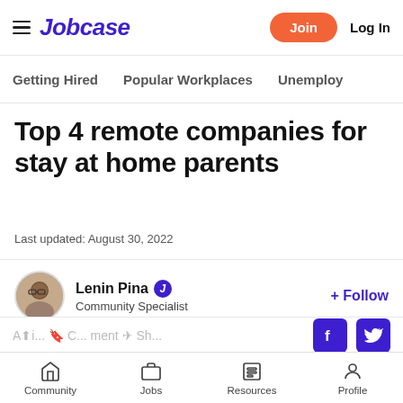Jobcase — Join | Log In
Getting Hired   Popular Workplaces   Unemploy
Top 4 remote companies for stay at home parents
Last updated: August 30, 2022
Lenin Pina — Community Specialist — + Follow
Community   Jobs   Resources   Profile